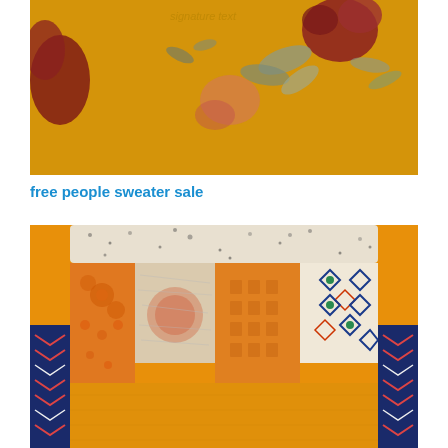[Figure (photo): Close-up of a yellow/mustard floral fabric with red and grey flower patterns]
free people sweater sale
[Figure (photo): Close-up of patchwork pants/skirt waistband area showing orange, cream, navy blue chevron, and geometric patterned fabric patches with a speckled elastic waistband]